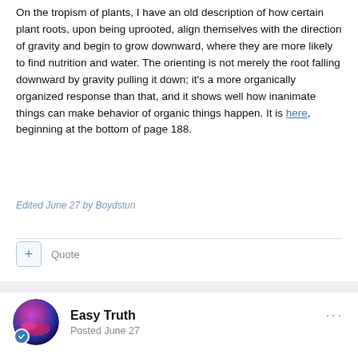On the tropism of plants, I have an old description of how certain plant roots, upon being uprooted, align themselves with the direction of gravity and begin to grow downward, where they are more likely to find nutrition and water. The orienting is not merely the root falling downward by gravity pulling it down; it's a more organically organized response than that, and it shows well how inanimate things can make behavior of organic things happen. It is here, beginning at the bottom of page 188.
Edited June 27 by Boydstun
Quote
Easy Truth
Posted June 27